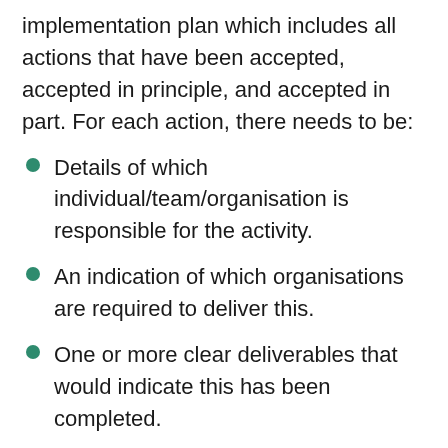implementation plan which includes all actions that have been accepted, accepted in principle, and accepted in part. For each action, there needs to be:
Details of which individual/team/organisation is responsible for the activity.
An indication of which organisations are required to deliver this.
One or more clear deliverables that would indicate this has been completed.
A timeframe for completing each deliverable.
An evaluation framework that assesses impact and whether the action taken has delivered the results